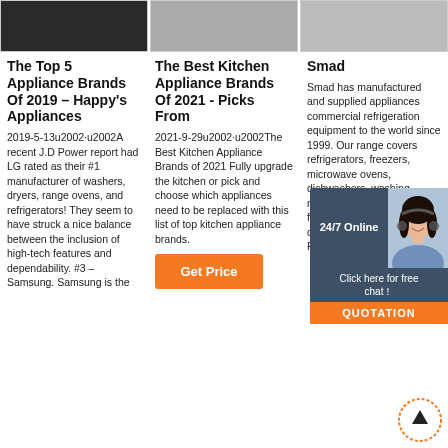[Figure (photo): Three product/kitchen appliance images cropped at top of page]
The Top 5 Appliance Brands Of 2019 – Happy's Appliances
2019-5-13u2002·u2002A recent J.D Power report had LG rated as their #1 manufacturer of washers, dryers, range ovens, and refrigerators! They seem to have struck a nice balance between the inclusion of high-tech features and dependability. #3 – Samsung. Samsung is the
The Best Kitchen Appliance Brands Of 2021 - Picks From
2021-9-29u2002·u2002The Best Kitchen Appliance Brands of 2021 Fully upgrade the kitchen or pick and choose which appliances need to be replaced with this list of top kitchen appliance brands.
[Figure (other): Orange Get Price button]
Smad
Smad has manufactured and supplied appliances commercial refrigeration equipment to the world since 1999. Our range covers refrigerators, freezers, microwave ovens, dishwashers, washing machines, ice cream freezers, cake cabinets, display fridges, Featured Produ
[Figure (other): 24/7 Online chat widget with customer service photo, Click here for free chat!, and QUOTATION button]